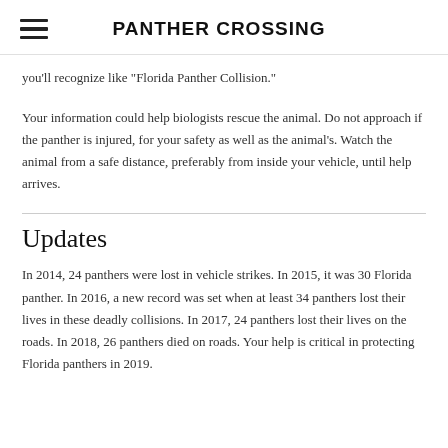PANTHER CROSSING
you'll recognize like "Florida Panther Collision."
Your information could help biologists rescue the animal. Do not approach if the panther is injured, for your safety as well as the animal's. Watch the animal from a safe distance, preferably from inside your vehicle, until help arrives.
Updates
In 2014, 24 panthers were lost in vehicle strikes. In 2015, it was 30 Florida panther. In 2016, a new record was set when at least 34 panthers lost their lives in these deadly collisions. In 2017, 24 panthers lost their lives on the roads. In 2018, 26 panthers died on roads. Your help is critical in protecting Florida panthers in 2019.